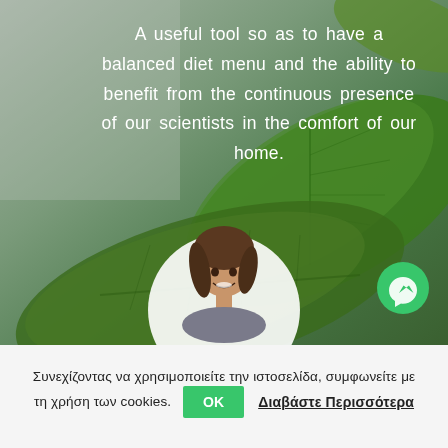[Figure (photo): Background photo of green leafy vegetables (spinach/basil) on a light grey surface, with a circular portrait of a smiling young woman in athletic wear overlaid at the bottom center, and a green Messenger icon button at the bottom right]
A useful tool so as to have a balanced diet menu and the ability to benefit from the continuous presence of our scientists in the comfort of our home.
Συνεχίζοντας να χρησιμοποιείτε την ιστοσελίδα, συμφωνείτε με τη χρήση των cookies.
OK
Διαβάστε Περισσότερα